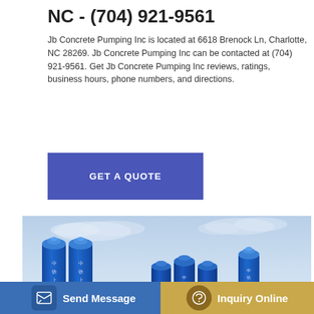NC - (704) 921-9561
Jb Concrete Pumping Inc is located at 6618 Brenock Ln, Charlotte, NC 28269. Jb Concrete Pumping Inc can be contacted at (704) 921-9561. Get Jb Concrete Pumping Inc reviews, ratings, business hours, phone numbers, and directions.
[Figure (other): Button labeled GET A QUOTE in white text on blue/purple background]
[Figure (photo): Industrial concrete batching plant with blue silos and a large sign in Chinese characters reading 中铁上海工程局集团, with yellow pipes visible and trees in background]
[Figure (other): Two bottom buttons: Send Message (blue) and Inquiry Online (tan/gold)]